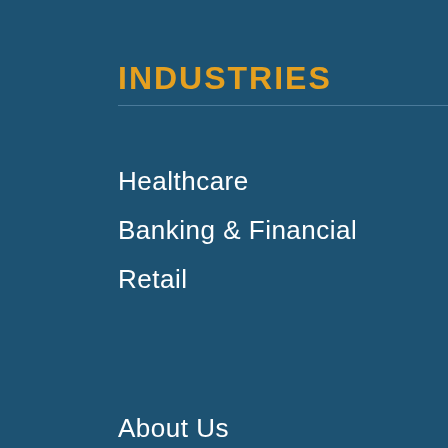INDUSTRIES
Healthcare
Banking & Financial
Retail
About Us
Insights
Careers
Contact Us